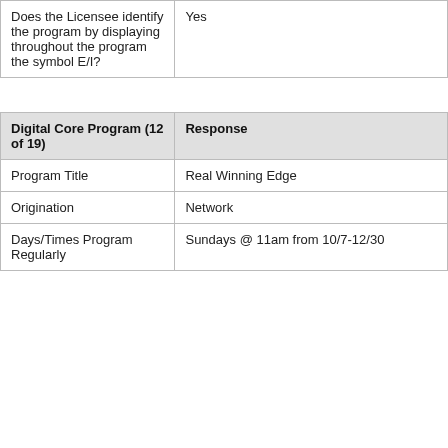|  |  |
| --- | --- |
| Does the Licensee identify the program by displaying throughout the program the symbol E/I? | Yes |
| Digital Core Program (12 of 19) | Response |
| Program Title | Real Winning Edge |
| Origination | Network |
| Days/Times Program Regularly | Sundays @ 11am from 10/7-12/30 |